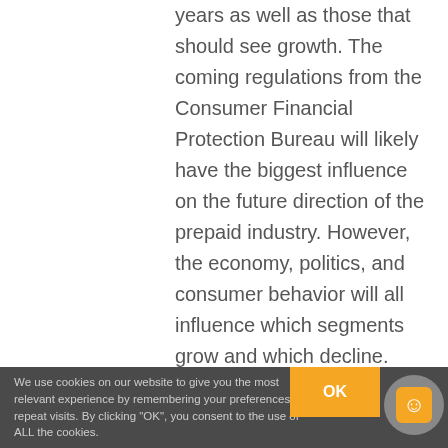years as well as those that should see growth. The coming regulations from the Consumer Financial Protection Bureau will likely have the biggest influence on the future direction of the prepaid industry. However, the economy, politics, and consumer behavior will all influence which segments grow and which decline.

This report reviews and forecasts
We use cookies on our website to give you the most relevant experience by remembering your preferences and repeat visits. By clicking "OK", you consent to the use of ALL the cookies.